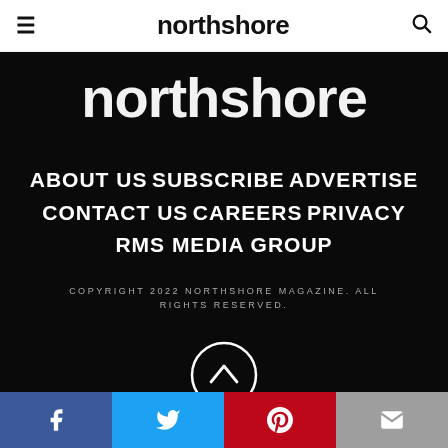northshore
[Figure (logo): Northshore magazine logo in white text on dark background]
ABOUT US  SUBSCRIBE  ADVERTISE  CONTACT US  CAREERS  PRIVACY  RMS MEDIA GROUP
COPYRIGHT 2022 NORTHSHORE MAGAZINE. ALL RIGHTS RESERVED.
[Figure (other): Scroll to top button — circle with upward chevron arrow]
Facebook | Twitter | Pinterest | Email